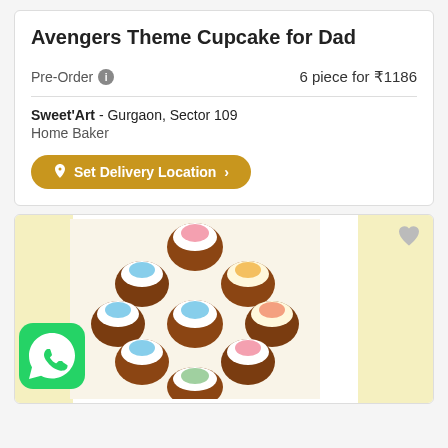Avengers Theme Cupcake for Dad
Pre-Order  6 piece for ₹1186
Sweet'Art - Gurgaon, Sector 109
Home Baker
Set Delivery Location
[Figure (photo): A box of themed cupcakes with various colorful decorations including Avengers characters. WhatsApp icon visible in bottom left corner. Small heart icon in top right.]